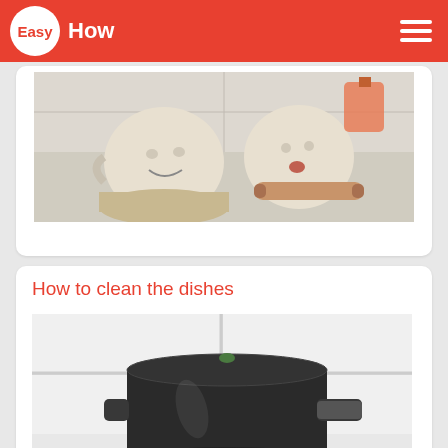EasyHow
[Figure (illustration): Cartoon illustration of anthropomorphic kitchen mugs/jars with faces in a kitchen setting, one holding a rolling pin]
How to clean the dishes
[Figure (photo): Photo of a large black pot/stockpot on a gas stove burner against white tile background]
How to clean soot
[Figure (photo): Partial photo at bottom of page, beginning of another article image]